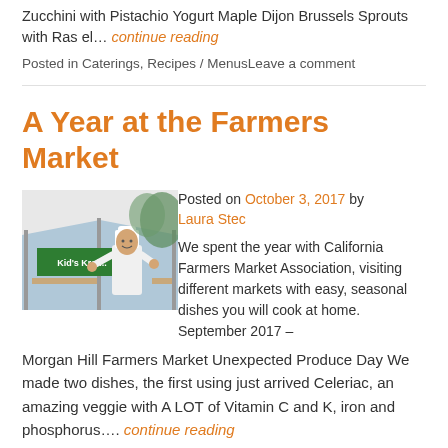Zucchini with Pistachio Yogurt Maple Dijon Brussels Sprouts with Ras el… continue reading
Posted in Caterings, Recipes / MenusLeave a comment
A Year at the Farmers Market
[Figure (photo): Photo of a person in chef whites and hat at a farmers market booth with a green banner reading Kid's Kraft]
Posted on October 3, 2017 by Laura Stec
We spent the year with California Farmers Market Association, visiting different markets with easy, seasonal dishes you will cook at home. September 2017 – Morgan Hill Farmers Market Unexpected Produce Day We made two dishes, the first using just arrived Celeriac, an amazing veggie with A LOT of Vitamin C and K, iron and phosphorus…. continue reading